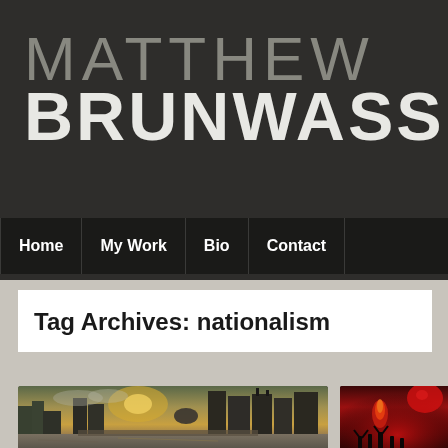MATTHEW BRUNWASSER
Home | My Work | Bio | Contact
Tag Archives: nationalism
[Figure (photo): River city scene at dusk with buildings under construction, a dome structure visible in the background, calm river in foreground reflecting golden sunset light]
[Figure (photo): Dark nighttime scene with people and fire or red lights, celebration or protest scene]